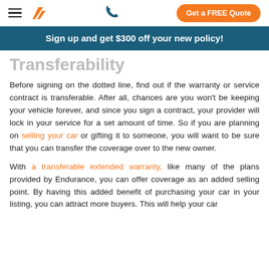☰ [Logo] [Phone] Get a FREE Quote
Sign up and get $300 off your new policy!
Transferability
Before signing on the dotted line, find out if the warranty or service contract is transferable. After all, chances are you won't be keeping your vehicle forever, and since you sign a contract, your provider will lock in your service for a set amount of time. So if you are planning on selling your car or gifting it to someone, you will want to be sure that you can transfer the coverage over to the new owner.
With a transferable extended warranty, like many of the plans provided by Endurance, you can offer coverage as an added selling point. By having this added benefit of purchasing your car in your listing, you can attract more buyers. This will help your car